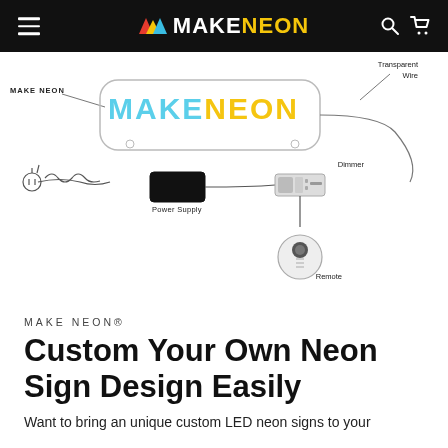MAKENEON
[Figure (schematic): Neon sign product diagram showing a MAKENEON branded neon sign with transparent wire connected to a power supply, dimmer controller, and remote control. Labels: MAKE NEON, Transparent Wire, Power Supply, Dimmer, Remote.]
MAKE NEON®
Custom Your Own Neon Sign Design Easily
Want to bring an unique custom LED neon signs to your